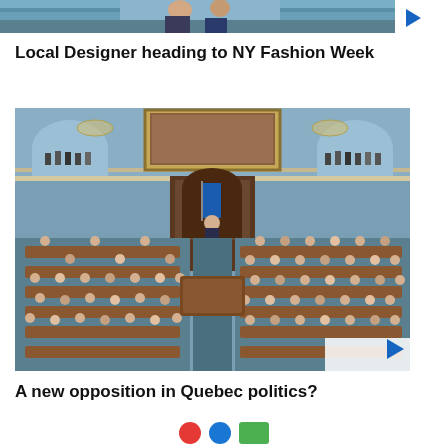[Figure (photo): Top partial image strip showing what appears to be a fashion or style photo, teal/blue tones, cropped at top of page]
Local Designer heading to NY Fashion Week
[Figure (photo): Interior photograph of the Quebec National Assembly chamber, showing legislators seated at wooden desks in a grand ornate hall with blue walls, gallery above, large painting, and a central speaker's podium. Blue Quebec flag visible at the front.]
A new opposition in Quebec politics?